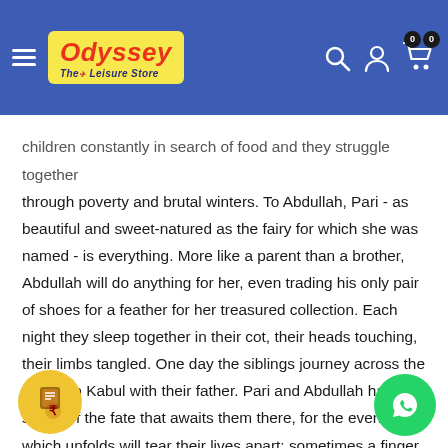Odyssey – The Leisure Store (navigation header with logo, search, user, and cart icons)
children constantly in search of food and they struggle together through poverty and brutal winters. To Abdullah, Pari - as beautiful and sweet-natured as the fairy for which she was named - is everything. More like a parent than a brother, Abdullah will do anything for her, even trading his only pair of shoes for a feather for her treasured collection. Each night they sleep together in their cot, their heads touching, their limbs tangled. One day the siblings journey across the desert to Kabul with their father. Pari and Abdullah have no sense of the fate that awaits them there, for the event which unfolds will tear their lives apart; sometimes a finger must be cut to save the hand. Crossing generations and continents, moving from Kabul, to Paris, to San Francisco, to the Greek island of Tinos, with profound wisdom, depth, insight and compassion, Khaled Hosseini writes about the bonds that define us and shape our lives, the ways in which we help our loved ones in need, how the choices